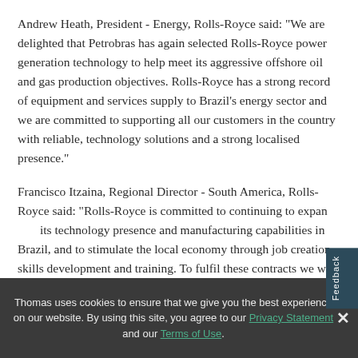Andrew Heath, President - Energy, Rolls-Royce said: "We are delighted that Petrobras has again selected Rolls-Royce power generation technology to help meet its aggressive offshore oil and gas production objectives. Rolls-Royce has a strong record of equipment and services supply to Brazil's energy sector and we are committed to supporting all our customers in the country with reliable, technology solutions and a strong localised presence."
Francisco Itzaina, Regional Director - South America, Rolls-Royce said: "Rolls-Royce is committed to continuing to expand its technology presence and manufacturing capabilities in Brazil, and to stimulate the local economy through job creation, skills development and training. To fulfil these contracts we will further develop our local supply chain to
Thomas uses cookies to ensure that we give you the best experience on our website. By using this site, you agree to our Privacy Statement and our Terms of Use.